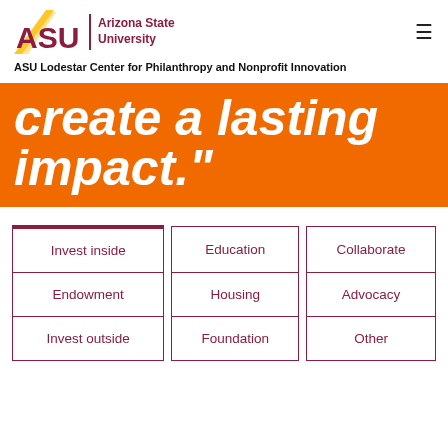ASU Arizona State University
ASU Lodestar Center for Philanthropy and Nonprofit Innovation
create a lasting impact."
| Invest inside | Education | Collaborate |
| --- | --- | --- |
| Endowment | Housing | Advocacy |
| Invest outside | Foundation | Other |